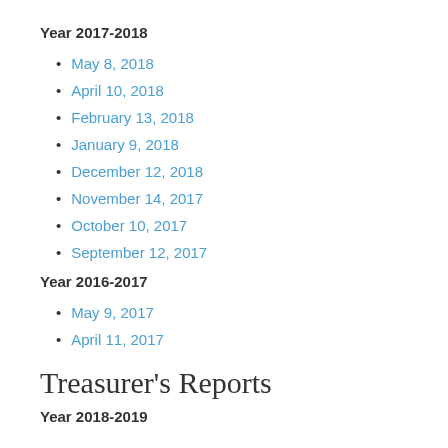Year 2017-2018
May 8, 2018
April 10, 2018
February 13, 2018
January 9, 2018
December 12, 2018
November 14, 2017
October 10, 2017
September 12, 2017
Year 2016-2017
May 9, 2017
April 11, 2017
Treasurer's Reports
Year 2018-2019